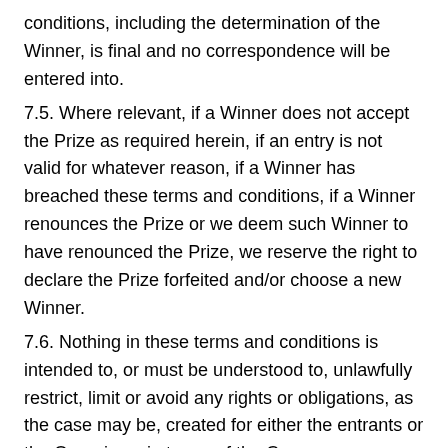conditions, including the determination of the Winner, is final and no correspondence will be entered into.
7.5. Where relevant, if a Winner does not accept the Prize as required herein, if an entry is not valid for whatever reason, if a Winner has breached these terms and conditions, if a Winner renounces the Prize or we deem such Winner to have renounced the Prize, we reserve the right to declare the Prize forfeited and/or choose a new Winner.
7.6. Nothing in these terms and conditions is intended to, or must be understood to, unlawfully restrict, limit or avoid any rights or obligations, as the case may be, created for either the entrants or the Organisers in terms of the Consumer Protection Act, 68 of 2008.
7.7. By posting any content images or comments on any of the Promoter's public and/or social media platform a Participant consent to and gives the Promoter a world-wide